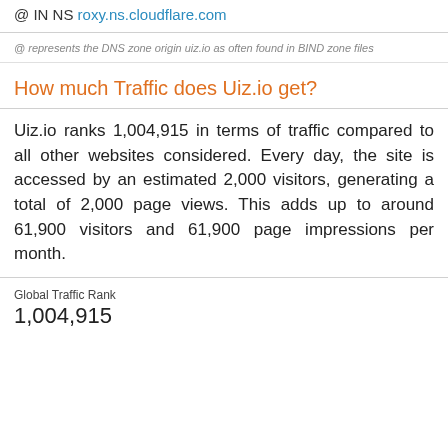@ IN NS roxy.ns.cloudflare.com
@ represents the DNS zone origin uiz.io as often found in BIND zone files
How much Traffic does Uiz.io get?
Uiz.io ranks 1,004,915 in terms of traffic compared to all other websites considered. Every day, the site is accessed by an estimated 2,000 visitors, generating a total of 2,000 page views. This adds up to around 61,900 visitors and 61,900 page impressions per month.
Global Traffic Rank
1,004,915